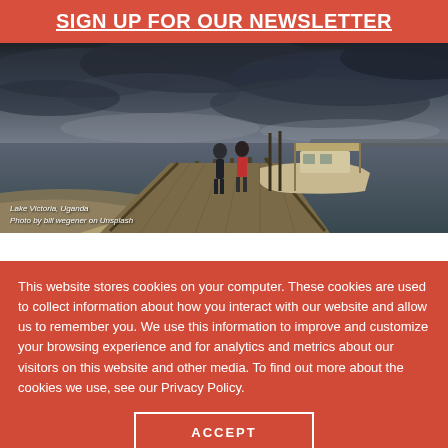SIGN UP FOR OUR NEWSLETTER
[Figure (photo): Photo of a wooden dock extending over Lake Victoria, Uganda under a dramatic dark cloudy sky. Two people stand on the dock near a moored boat. Caption reads: Lake Victoria, Uganda / Photo by bill wegener on Unsplash]
Lake Victoria, Uganda
Photo by bill wegener on Unsplash
This website stores cookies on your computer. These cookies are used to collect information about how you interact with our website and allow us to remember you. We use this information to improve and customize your browsing experience and for analytics and metrics about our visitors on this website and other media. To find out more about the cookies we use, see our Privacy Policy.
ACCEPT